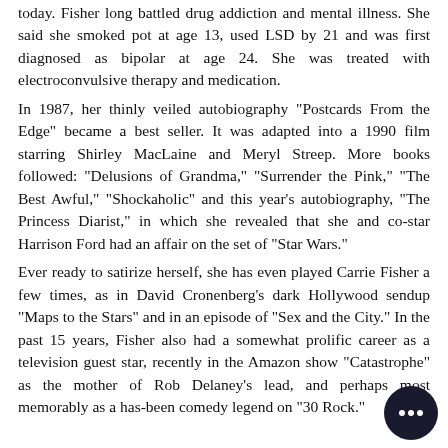today. Fisher long battled drug addiction and mental illness. She said she smoked pot at age 13, used LSD by 21 and was first diagnosed as bipolar at age 24. She was treated with electroconvulsive therapy and medication.
In 1987, her thinly veiled autobiography "Postcards From the Edge" became a best seller. It was adapted into a 1990 film starring Shirley MacLaine and Meryl Streep. More books followed: "Delusions of Grandma," "Surrender the Pink," "The Best Awful," "Shockaholic" and this year's autobiography, "The Princess Diarist," in which she revealed that she and co-star Harrison Ford had an affair on the set of "Star Wars."
Ever ready to satirize herself, she has even played Carrie Fisher a few times, as in David Cronenberg's dark Hollywood sendup "Maps to the Stars" and in an episode of "Sex and the City." In the past 15 years, Fisher also had a somewhat prolific career as a television guest star, recently in the Amazon show "Catastrophe" as the mother of Rob Delaney's lead, and perhaps most memorably as a has-been comedy legend on "30 Rock."